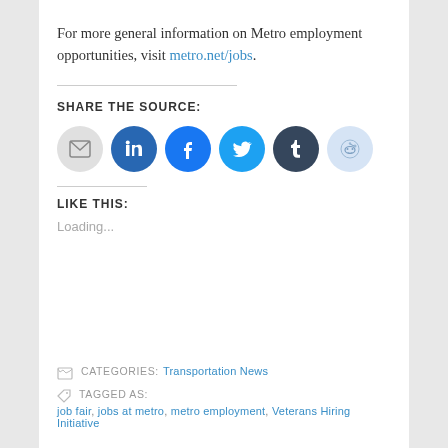For more general information on Metro employment opportunities, visit metro.net/jobs.
SHARE THE SOURCE:
[Figure (illustration): Row of six social media share buttons: email (grey circle), LinkedIn (blue circle), Facebook (blue circle), Twitter (light blue circle), Tumblr (dark circle), Reddit (light blue circle)]
LIKE THIS:
Loading...
CATEGORIES: Transportation News
TAGGED AS: job fair, jobs at metro, metro employment, Veterans Hiring Initiative